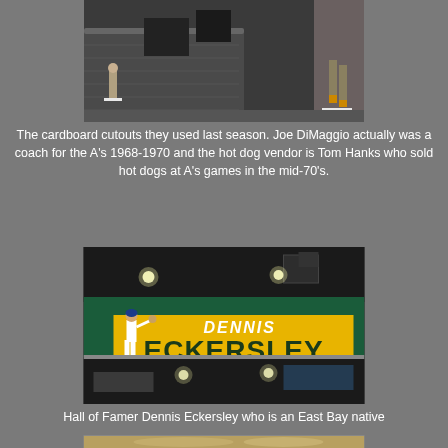[Figure (photo): Photo of cardboard cutouts at a baseball stadium, showing figures standing on white bases]
The cardboard cutouts they used last season. Joe DiMaggio actually was a coach for the A's 1968-1970 and the hot dog vendor is Tom Hanks who sold hot dogs at A's games in the mid-70's.
[Figure (photo): Photo of a Dennis Eckersley banner/mural inside a stadium concourse. The banner shows a pitcher in white uniform on a yellow and green background with text DENNIS ECKERSLEY in large letters.]
Hall of Famer Dennis Eckersley who is an East Bay native
[Figure (photo): Partial photo of food item, appears to be a hot dog or food in a wrapper at bottom of page]